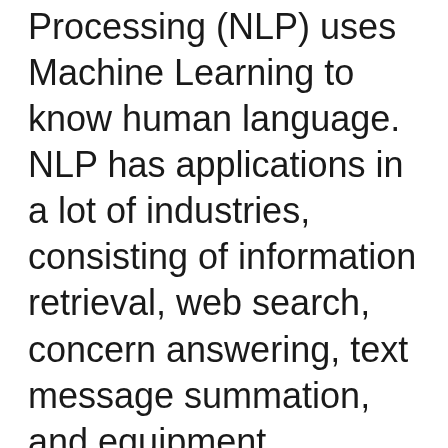Processing (NLP) uses Machine Learning to know human language. NLP has applications in a lot of industries, consisting of information retrieval, web search, concern answering, text message summation, and equipment translation. It is the primary modern technology behind chatbots and also Siri. Find out more concerning this developing field of expert system. Our team'll explain a number of the advantages of NLP in this particular post. Continue reading to learn more about the future of NLP in business...